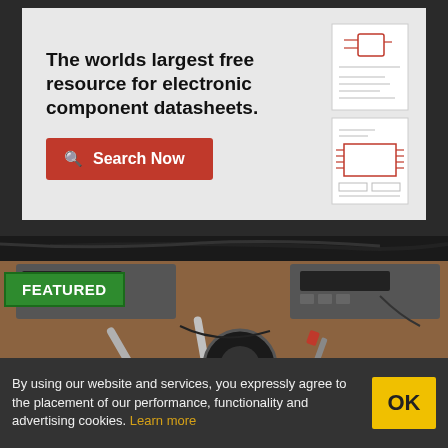[Figure (screenshot): Advertisement banner for electronic component datasheet resource with two datasheet icons on the right]
The worlds largest free resource for electronic component datasheets.
Search Now
[Figure (illustration): Featured illustration of an electronics workbench viewed from above with radio equipment, maps, headphones, and various tools]
FEATURED
By using our website and services, you expressly agree to the placement of our performance, functionality and advertising cookies. Learn more